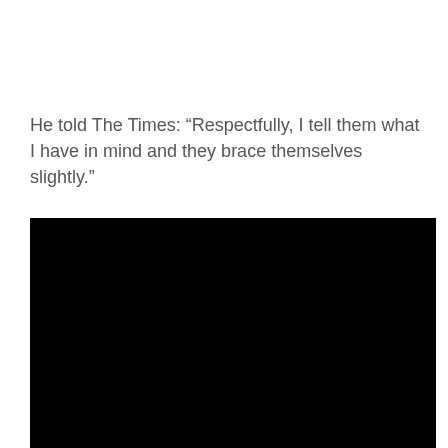He told The Times: “Respectfully, I tell them what I have in mind and they brace themselves slightly.”
[Figure (photo): A large black rectangular image, appears to be a video thumbnail or redacted/dark image occupying the lower portion of the page.]